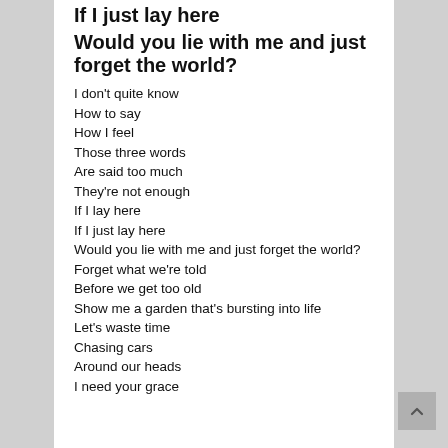If I just lay here
Would you lie with me and just forget the world?
I don't quite know
How to say
How I feel
Those three words
Are said too much
They're not enough
If I lay here
If I just lay here
Would you lie with me and just forget the world?
Forget what we're told
Before we get too old
Show me a garden that's bursting into life
Let's waste time
Chasing cars
Around our heads
I need your grace